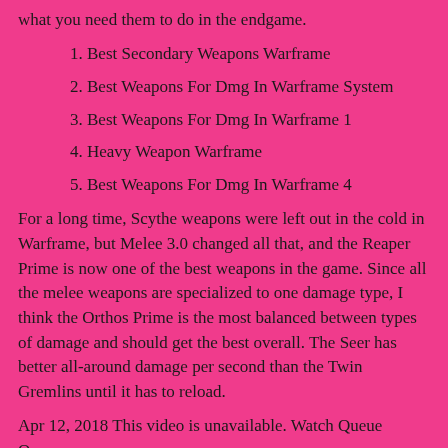what you need them to do in the endgame.
1. Best Secondary Weapons Warframe
2. Best Weapons For Dmg In Warframe System
3. Best Weapons For Dmg In Warframe 1
4. Heavy Weapon Warframe
5. Best Weapons For Dmg In Warframe 4
For a long time, Scythe weapons were left out in the cold in Warframe, but Melee 3.0 changed all that, and the Reaper Prime is now one of the best weapons in the game. Since all the melee weapons are specialized to one damage type, I think the Orthos Prime is the most balanced between types of damage and should get the best overall. The Seer has better all-around damage per second than the Twin Gremlins until it has to reload.
Apr 12, 2018 This video is unavailable. Watch Queue Queue.